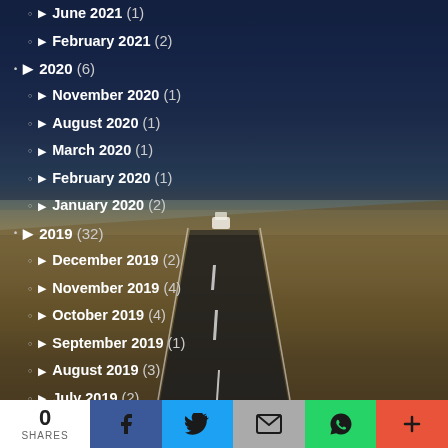June 2021 (1)
February 2021 (2)
2020 (6)
November 2020 (1)
August 2020 (1)
March 2020 (1)
February 2020 (1)
January 2020 (2)
2019 (32)
December 2019 (2)
November 2019 (4)
October 2019 (4)
September 2019 (1)
August 2019 (3)
July 2019 (2)
June 2019 (1)
May 2019 (1)
April 2019 (6)
0 SHARES